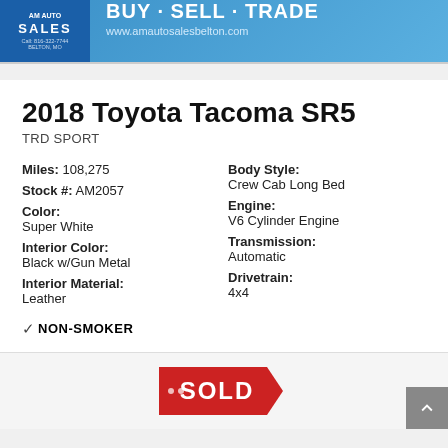[Figure (logo): AM Auto Sales banner with logo, BUY - SELL - TRADE, and website www.amautosalesbelton.com]
2018 Toyota Tacoma SR5
TRD SPORT
Miles: 108,275
Stock #: AM2057
Color:
Super White
Body Style:
Crew Cab Long Bed
Engine:
V6 Cylinder Engine
Interior Color:
Black w/Gun Metal
Transmission:
Automatic
Interior Material:
Leather
Drivetrain:
4x4
✓NON-SMOKER
[Figure (illustration): Red SOLD badge/ribbon graphic]